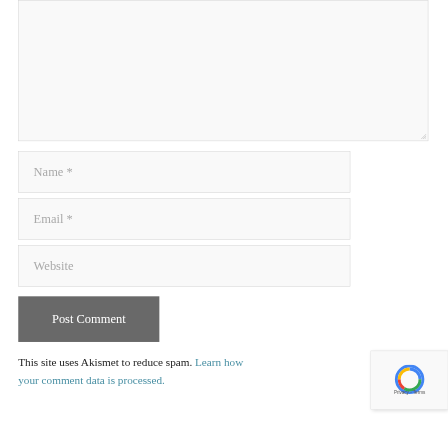[Figure (screenshot): A comment form with a large textarea, Name, Email, Website input fields, a Post Comment button, and an Akismet spam notice with reCAPTCHA badge.]
Name *
Email *
Website
Post Comment
This site uses Akismet to reduce spam. Learn how your comment data is processed.